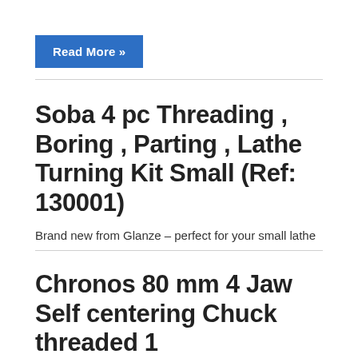Read More »
Soba 4 pc Threading , Boring , Parting , Lathe Turning Kit Small (Ref: 130001)
Brand new from Glanze – perfect for your small lathe
Chronos 80 mm 4 Jaw Self centering Chuck threaded 1